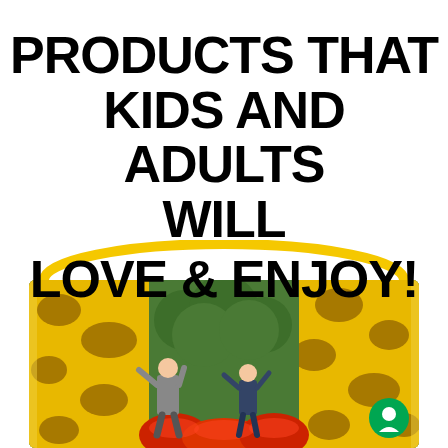PRODUCTS THAT KIDS AND ADULTS WILL LOVE & ENJOY!
[Figure (photo): Two children playing in front of a large yellow inflatable bounce house with giraffe-pattern spots and red inflatable tubes at the base, outdoors with green trees in the background.]